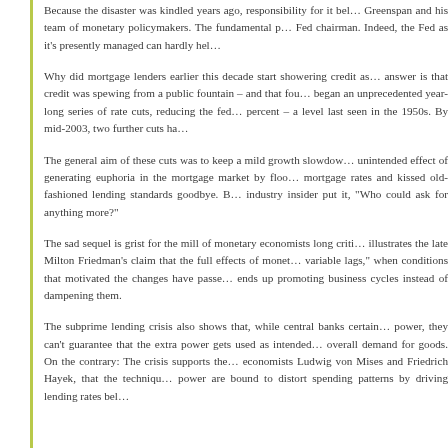Because the disaster was kindled years ago, responsibility for it belongs with Greenspan and his team of monetary policymakers. The fundamental problem lies with the Fed chairman. Indeed, the Fed as it's presently managed can hardly help...
Why did mortgage lenders earlier this decade start showering credit as if it were manna? The answer is that credit was spewing from a public fountain – and that fountain was the Fed, which began an unprecedented year-long series of rate cuts, reducing the federal funds rate to 1 percent – a level last seen in the 1950s. By mid-2003, two further cuts ha...
The general aim of these cuts was to keep a mild growth slowdown from worsening. But the unintended effect of generating euphoria in the mortgage market by flooding it with money. Lenders cut mortgage rates and kissed old-fashioned lending standards goodbye. Borrowers jumped in. As one industry insider put it, "Who could ask for anything more?"
The sad sequel is grist for the mill of monetary economists long critical of discretionary policy. It illustrates the late Milton Friedman's claim that the full effects of monetary policy work with "long and variable lags," when conditions that motivated the changes have passed. Discretionary monetary policy ends up promoting business cycles instead of dampening them.
The subprime lending crisis also shows that, while central banks certainly have the power to expand credit power, they can't guarantee that the extra power gets used as intended – to stimulate overall demand for goods. On the contrary: The crisis supports the warnings of Austrian economists Ludwig von Mises and Friedrich Hayek, that the techniques of credit expansion power are bound to distort spending patterns by driving lending rates bel...